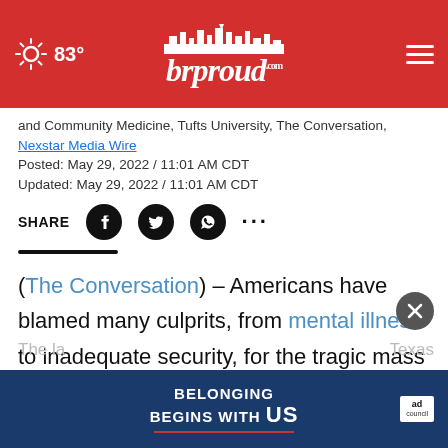83° brproud.com
and Community Medicine, Tufts University, The Conversation, Nexstar Media Wire
Posted: May 29, 2022 / 11:01 AM CDT
Updated: May 29, 2022 / 11:01 AM CDT
SHARE
(The Conversation) – Americans have blamed many culprits, from mental illness to inadequate security, for the tragic mass shootings that are occurring with increasing frequency in schools, offices and theaters across the U.S.
The la... Texas
[Figure (screenshot): Advertisement banner: BELONGING BEGINS WITH US, Ad Council logo]